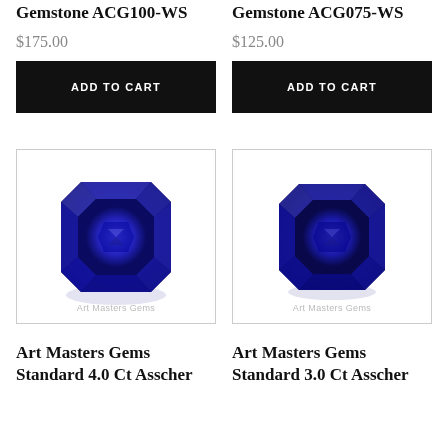Gemstone ACG100-WS
Gemstone ACG075-WS
$175.00
$125.00
ADD TO CART
ADD TO CART
[Figure (photo): Blue asscher-cut gemstone on white background with Art Masters Gems watermark]
[Figure (photo): Blue asscher-cut gemstone on white background with Art Masters Gems watermark]
Art Masters Gems Standard 4.0 Ct Asscher
Art Masters Gems Standard 3.0 Ct Asscher